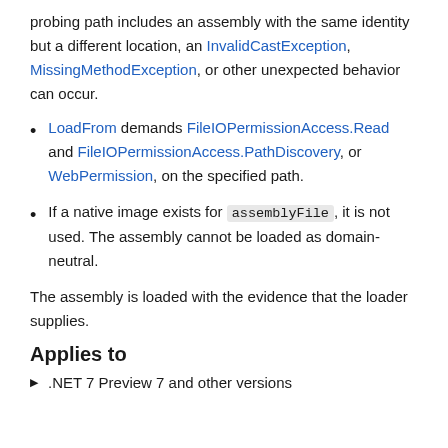probing path includes an assembly with the same identity but a different location, an InvalidCastException, MissingMethodException, or other unexpected behavior can occur.
LoadFrom demands FileIOPermissionAccess.Read and FileIOPermissionAccess.PathDiscovery, or WebPermission, on the specified path.
If a native image exists for assemblyFile, it is not used. The assembly cannot be loaded as domain-neutral.
The assembly is loaded with the evidence that the loader supplies.
Applies to
.NET 7 Preview 7 and other versions